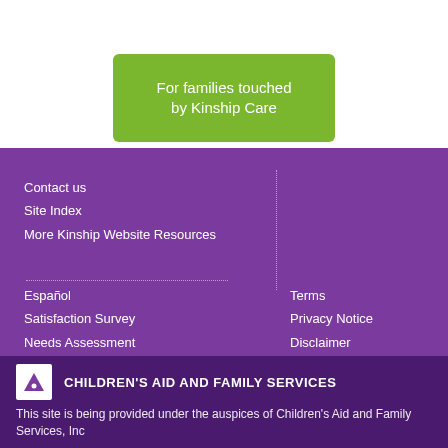[Figure (illustration): Green banner with white text reading 'For families touched by Kinship Care' overlaid on a partially visible photo of people at the top]
Contact us
Site Index
More Kinship Website Resources
Español
Satisfaction Survey
Needs Assessment
Terms
Privacy Notice
Disclaimer
CHILDREN'S AID AND FAMILY SERVICES
This site is being provided under the auspices of Children's Aid and Family Services, Inc